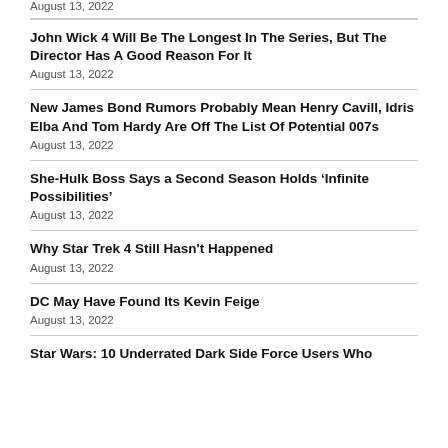August 13, 2022
John Wick 4 Will Be The Longest In The Series, But The Director Has A Good Reason For It
August 13, 2022
New James Bond Rumors Probably Mean Henry Cavill, Idris Elba And Tom Hardy Are Off The List Of Potential 007s
August 13, 2022
She-Hulk Boss Says a Second Season Holds ‘Infinite Possibilities’
August 13, 2022
Why Star Trek 4 Still Hasn't Happened
August 13, 2022
DC May Have Found Its Kevin Feige
August 13, 2022
Star Wars: 10 Underrated Dark Side Force Users Who